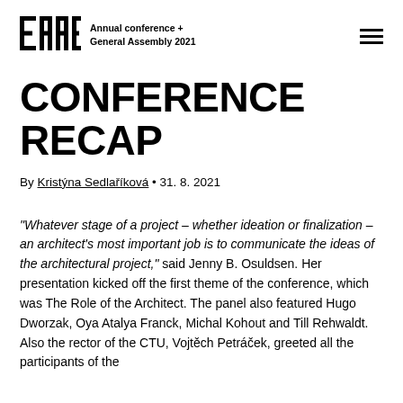EAAE Annual conference + General Assembly 2021
CONFERENCE RECAP
By Kristýna Sedlaříková • 31. 8. 2021
“Whatever stage of a project – whether ideation or finalization – an architect’s most important job is to communicate the ideas of the architectural project,” said Jenny B. Osuldsen. Her presentation kicked off the first theme of the conference, which was The Role of the Architect. The panel also featured Hugo Dworzak, Oya Atalya Franck, Michal Kohout and Till Rehwaldt. Also the rector of the CTU, Vojtěch Petráček, greeted all the participants of the